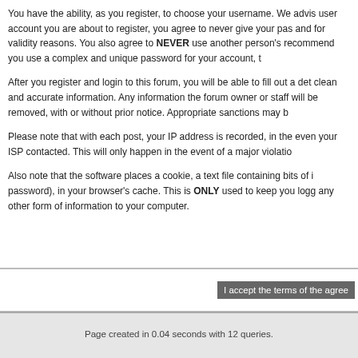You have the ability, as you register, to choose your username. We advis user account you are about to register, you agree to never give your pas and for validity reasons. You also agree to NEVER use another person's recommend you use a complex and unique password for your account, t
After you register and login to this forum, you will be able to fill out a det clean and accurate information. Any information the forum owner or staff will be removed, with or without prior notice. Appropriate sanctions may b
Please note that with each post, your IP address is recorded, in the even your ISP contacted. This will only happen in the event of a major violatio
Also note that the software places a cookie, a text file containing bits of i password), in your browser's cache. This is ONLY used to keep you logg any other form of information to your computer.
I accept the terms of the agree
SMF | SMF © 2016, Simple Machines
Page created in 0.04 seconds with 12 queries.